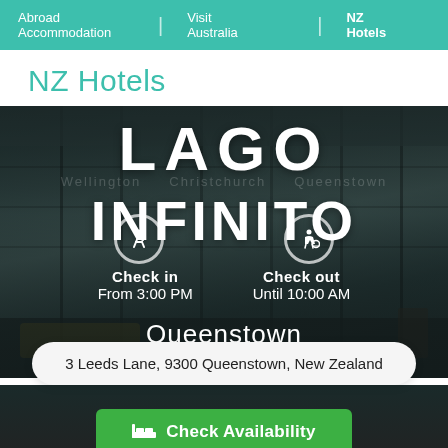Abroad Accommodation | Visit Australia | NZ Hotels
NZ Hotels
[Figure (photo): Hotel room interior photo with overlay showing 'LAGO INFINITO' branding, check-in time (From 3:00 PM), check-out time (Until 10:00 AM), and Queenstown location label. Address: 3 Leeds Lane, 9300 Queenstown, New Zealand. Check Availability button at bottom.]
3 Leeds Lane, 9300 Queenstown, New Zealand
Check Availability